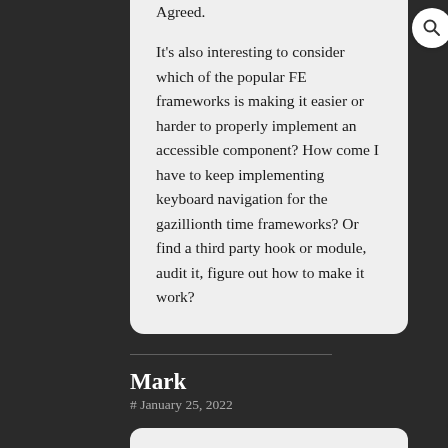Agreed.

It's also interesting to consider which of the popular FE frameworks is making it easier or harder to properly implement an accessible component? How come I have to keep implementing keyboard navigation for the gazillionth time frameworks? Or find a third party hook or module, audit it, figure out how to make it work?
Mark
# January 25, 2022
Unless they had routine visits from